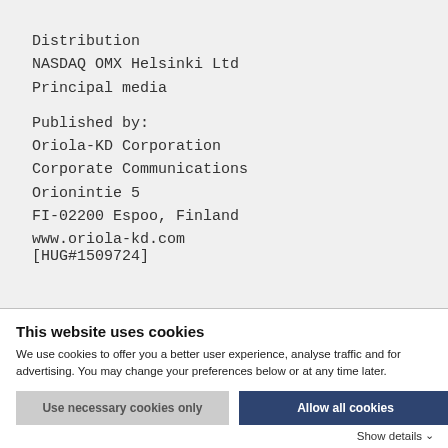Distribution
NASDAQ OMX Helsinki Ltd
Principal media

Published by:
Oriola-KD Corporation
Corporate Communications
Orionintie 5
FI-02200 Espoo, Finland
www.oriola-kd.com
[HUG#1509724]
This website uses cookies
We use cookies to offer you a better user experience, analyse traffic and for advertising. You may change your preferences below or at any time later.
Use necessary cookies only
Allow all cookies
Show details